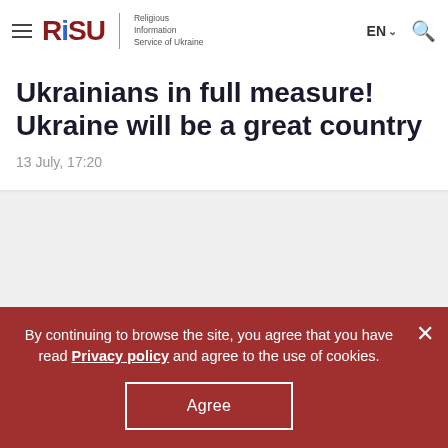RISU - Religious Information Service of Ukraine | EN | Search
Ukrainians in full measure! Ukraine will be a great country
13 July, 17:20
By continuing to browse the site, you agree that you have read Privacy policy and agree to the use of cookies. Agree